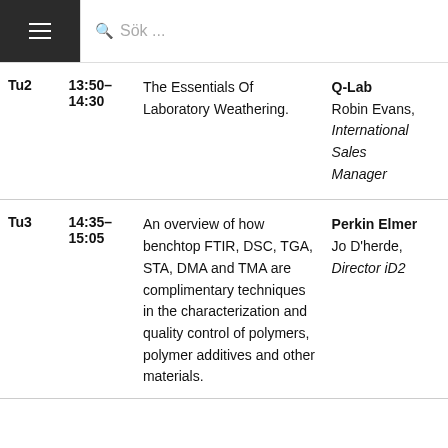≡  Sök ...
| Code | Time | Description | Presenter |
| --- | --- | --- | --- |
| Tu2 | 13:50–14:30 | The Essentials Of Laboratory Weathering. | Q-Lab
Robin Evans, International Sales Manager |
| Tu3 | 14:35–15:05 | An overview of how benchtop FTIR, DSC, TGA, STA, DMA and TMA are complimentary techniques in the characterization and quality control of polymers, polymer additives and other materials. | Perkin Elmer
Jo D'herde, Director iD2 |